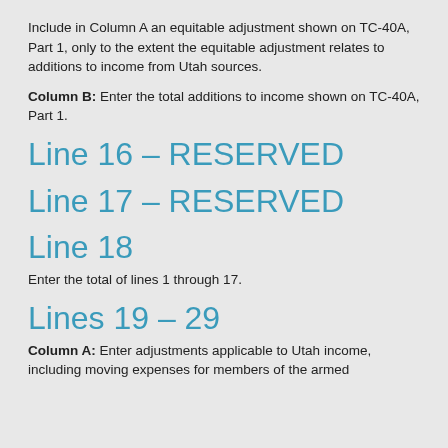Include in Column A an equitable adjustment shown on TC-40A, Part 1, only to the extent the equitable adjustment relates to additions to income from Utah sources.
Column B: Enter the total additions to income shown on TC-40A, Part 1.
Line 16 – RESERVED
Line 17 – RESERVED
Line 18
Enter the total of lines 1 through 17.
Lines 19 – 29
Column A: Enter adjustments applicable to Utah income, including moving expenses for members of the armed